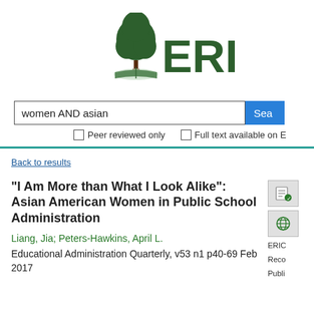[Figure (logo): ERIC logo with tree and open book icon above bold green ERIC text]
women AND asian
Peer reviewed only   Full text available on E
Back to results
"I Am More than What I Look Alike": Asian American Women in Public School Administration
Liang, Jia; Peters-Hawkins, April L.
Educational Administration Quarterly, v53 n1 p40-69 Feb 2017
ERIC
Reco
Publi